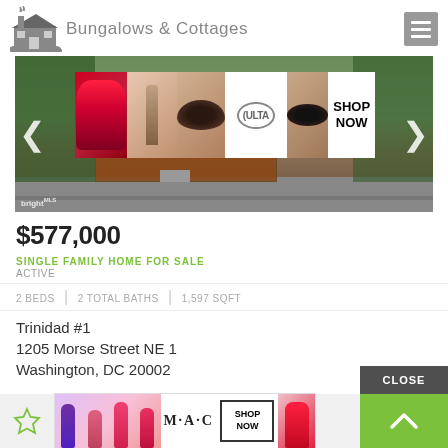Bungalows & Cottages
[Figure (photo): Exterior photo of a brick house at 1205 Morse Street NE, Washington DC, with trees and a sidewalk. An ULTA beauty advertisement overlays the top portion of the image.]
$577,000
SINGLE FAMILY HOME FOR SALE
ACTIVE
2 BEDS | 2 TOTAL BATHS | 1,597 SQFT
Trinidad #1
1205 Morse Street NE 1
Washington, DC 20002
[Figure (advertisement): M·A·C cosmetics advertisement showing colorful lipsticks with SHOP NOW button]